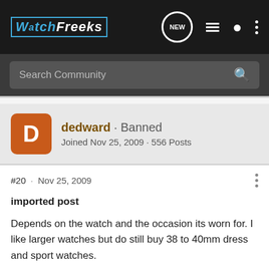WatchFreeks
Search Community
dedward · Banned
Joined Nov 25, 2009 · 556 Posts
#20 · Nov 25, 2009
imported post
Depends on the watch and the occasion its worn for. I like larger watches but do still buy 38 to 40mm dress and sport watches.

this is 39mm.